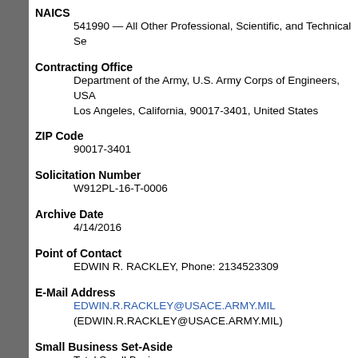NAICS
541990 — All Other Professional, Scientific, and Technical Se
Contracting Office
Department of the Army, U.S. Army Corps of Engineers, USA
Los Angeles, California, 90017-3401, United States
ZIP Code
90017-3401
Solicitation Number
W912PL-16-T-0006
Archive Date
4/14/2016
Point of Contact
EDWIN R. RACKLEY, Phone: 2134523309
E-Mail Address
EDWIN.R.RACKLEY@USACE.ARMY.MIL
(EDWIN.R.RACKLEY@USACE.ARMY.MIL)
Small Business Set-Aside
Total Small Business
Description